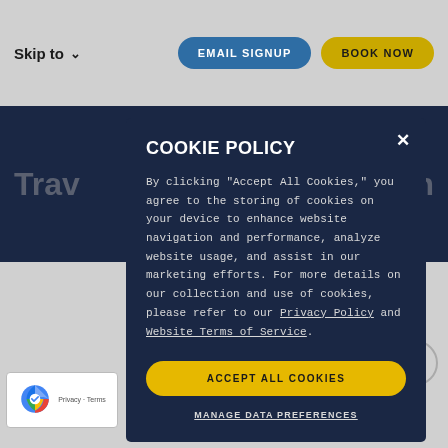Skip to  EMAIL SIGNUP  BOOK NOW
Trav...rson
COOKIE POLICY
By clicking "Accept All Cookies," you agree to the storing of cookies on your device to enhance website navigation and performance, analyze website usage, and assist in our marketing efforts. For more details on our collection and use of cookies, please refer to our Privacy Policy and Website Terms of Service.
ACCEPT ALL COOKIES
MANAGE DATA PREFERENCES